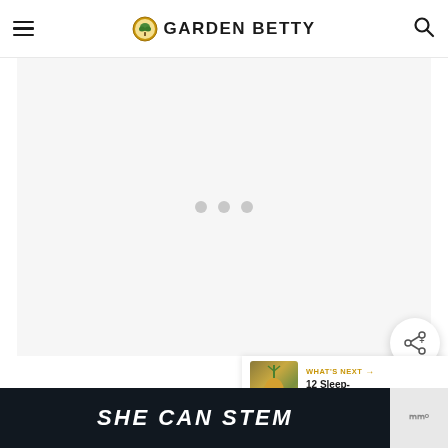GARDEN BETTY
[Figure (other): Advertisement placeholder area with three gray dots in the center on a light gray background]
[Figure (other): Share button: circular white button with share icon (arrows/plus)]
[Figure (other): What's Next banner showing a pineapple thumbnail and text '12 Sleep-Promoting...' with label 'WHAT'S NEXT →']
[Figure (photo): Hero image of red fruit/tomatoes with yellow flower details on a warm reddish-brown blurred background]
[Figure (other): Dark banner with white bold italic text 'SHE CAN STEM' and a small logo on the right side]